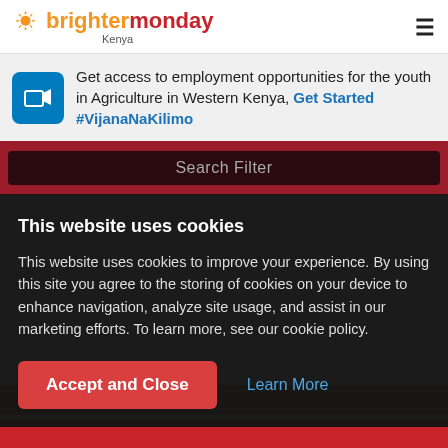[Figure (logo): BrighterMonday Kenya logo with orange sun icon and text 'brighter' in orange and 'monday' in red, with 'Kenya' subtitle]
Get access to employment opportunities for the youth in Agriculture in Western Kenya, Get Started #VijanaNaKilimo
Search Filter
This website uses cookies
This website uses cookies to improve your experience. By using this site you agree to the storing of cookies on your device to enhance navigation, analyze site usage, and assist in our marketing efforts. To learn more, see our cookie policy.
Accept and Close
Learn More
Hospitality & Hotel Jobs In Kenya
Jobs found